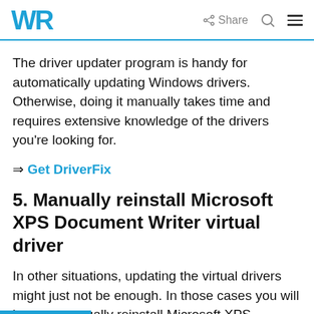WR | Share
The driver updater program is handy for automatically updating Windows drivers. Otherwise, doing it manually takes time and requires extensive knowledge of the drivers you're looking for.
⇒ Get DriverFix
5. Manually reinstall Microsoft XPS Document Writer virtual driver
In other situations, updating the virtual drivers might just not be enough. In those cases you will have to manually reinstall Microsoft XPS Document Writer: